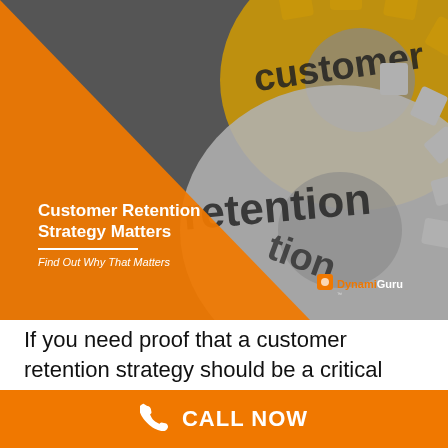[Figure (illustration): Hero image showing interlocking metallic and gold gears with text 'customer retention' embossed on them, with an orange triangular overlay on the left side, and the DynamiGuru logo in the bottom right corner.]
Customer Retention Strategy Matters
Find Out Why That Matters
If you need proof that a customer retention strategy should be a critical part of any business, consider the
CALL NOW